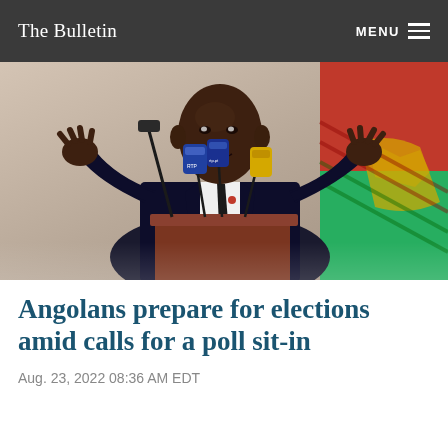The Bulletin | MENU
[Figure (photo): A man in a dark suit speaking at a podium with multiple microphones, gesturing with both hands. A flag with red and green colors is visible in the background.]
Angolans prepare for elections amid calls for a poll sit-in
Aug. 23, 2022 08:36 AM EDT